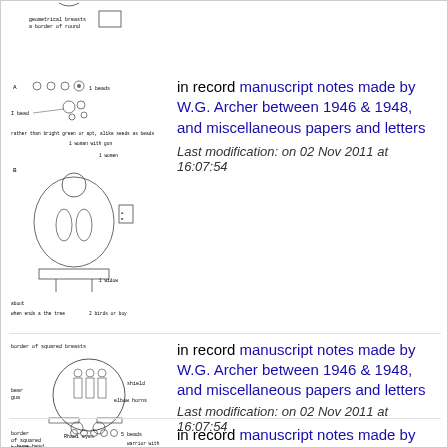[Figure (illustration): Hand-drawn sketch of manuscript notes with small circles, a rounded figure, and handwritten annotations about beads and warriors]
in record manuscript notes made by W.G. Archer between 1946 & 1948, and miscellaneous papers and letters
Last modification: on 02 Nov 2011 at 16:07:54
[Figure (illustration): Hand-drawn sketch labeled 'border of squared breasts' showing a circular shield with figures, bear gua, shield, elbow horns labels]
in record manuscript notes made by W.G. Archer between 1946 & 1948, and miscellaneous papers and letters
Last modification: on 02 Nov 2011 at 16:07:54
[Figure (illustration): Hand-drawn sketch labeled 'border of squared breasts' with circles labeled 5 beads, warrior with gun and shield]
in record manuscript notes made by W.G. Archer between 1946 & 1948, and miscellaneous papers and letters